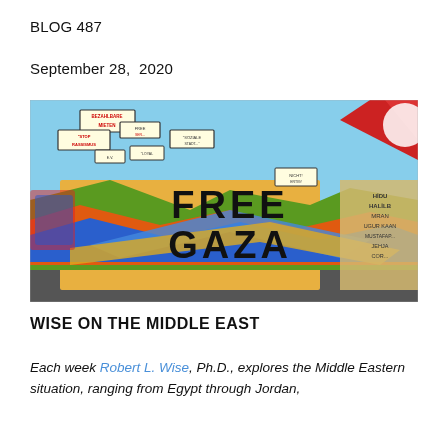BLOG 487
September 28,  2020
[Figure (photo): Colorful graffiti wall with 'FREE GAZA' written in large black letters over vivid graffiti artwork. Various protest signs visible including 'STOP RASSISMUS', 'BEZAHLBARE MIETEN', and other German text. City skyline visible in background.]
WISE ON THE MIDDLE EAST
Each week Robert L. Wise, Ph.D., explores the Middle Eastern situation, ranging from Egypt through Jordan,